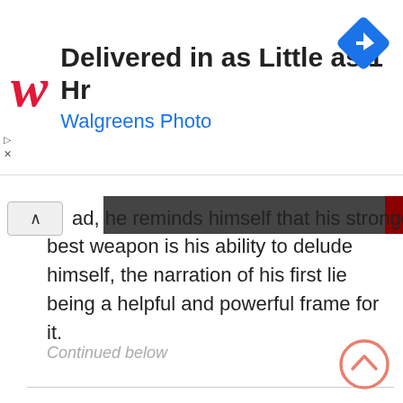[Figure (screenshot): Walgreens ad banner: red cursive W logo, headline 'Delivered in as Little as 1 Hr', subline 'Walgreens Photo', blue diamond navigation icon top right, ad play/close controls top left]
ad, he reminds himself that his strongest trait, his best weapon is his ability to delude himself, the narration of his first lie being a helpful and powerful frame for it.
Continued below